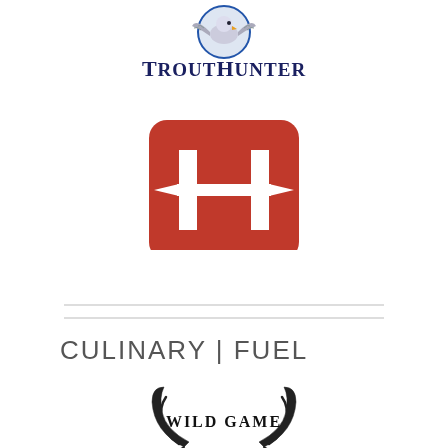[Figure (logo): TroutHunter logo with eagle/bird graphic above stylized text 'TroutHunter' in dark blue]
[Figure (logo): Hatch Premium Fly Fishing Reels logo: red rounded square with white H-shaped barbell icon, red 'HATCH' text below with tagline 'PREMIUM FLY FISHING REELS']
[Figure (other): Two horizontal gray separator lines]
CULINARY | FUEL
[Figure (logo): Wild Game logo with antler/hook bracket decorations around text 'WILD GAME']